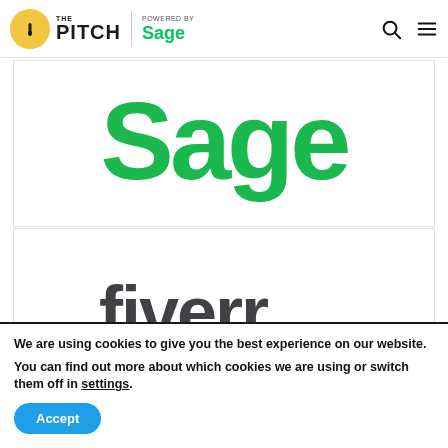THE PITCH | POWERED BY Sage
[Figure (logo): Sage green logo large display]
[Figure (logo): Fiverr dark logo large display]
We are using cookies to give you the best experience on our website.
You can find out more about which cookies we are using or switch them off in settings.
Accept